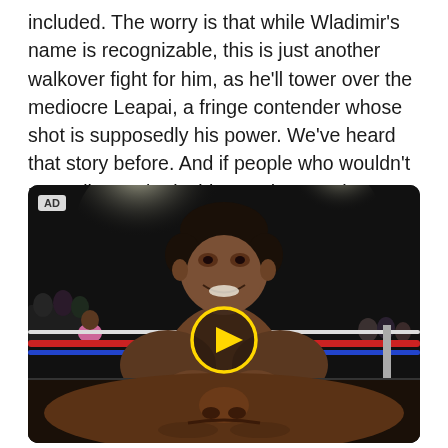included. The worry is that while Wladimir's name is recognizable, this is just another walkover fight for him, as he'll tower over the mediocre Leapai, a fringe contender whose shot is supposedly his power. We've heard that story before. And if people who wouldn't normally turn in decide to, what are they going to see?
[Figure (photo): A video advertisement showing a muscular Black boxer smiling in the boxing ring under bright lights, with a yellow circular play button overlay in the center of the image. The image is split into two sections — the top showing the boxer from mid-torso up with ring ropes visible, and the bottom showing a close-up of another boxer's face. An 'AD' label appears in the top-left corner.]